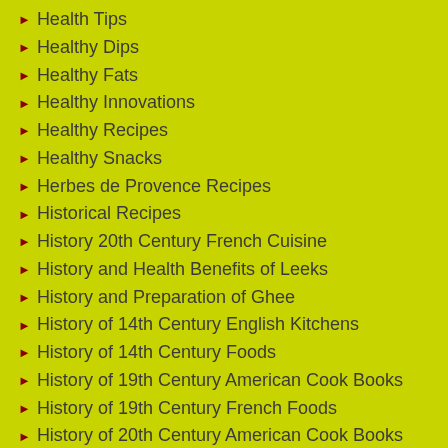Health Tips
Healthy Dips
Healthy Fats
Healthy Innovations
Healthy Recipes
Healthy Snacks
Herbes de Provence Recipes
Historical Recipes
History 20th Century French Cuisine
History and Health Benefits of Leeks
History and Preparation of Ghee
History of 14th Century English Kitchens
History of 14th Century Foods
History of 19th Century American Cook Books
History of 19th Century French Foods
History of 20th Century American Cook Books
History of American Cuisine
History of Arabic Foods
History of Arrowroot
History of Assyria